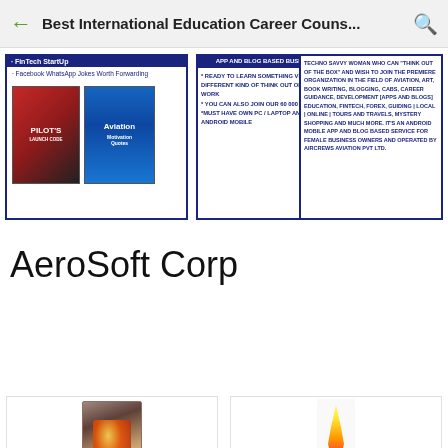Best International Education Career Couns...
[Figure (screenshot): Left card with dark blue border showing FinTech StartUp header, Facebook WhatsApp links, and book covers for Pilot's and Aviation Motivation Quotes]
[Figure (screenshot): Middle card with dark blue border, header 'APP AND BLOG BASED BUSINESSES', bullet points about learning, joining 60000 startups, and owning a laptop and 4G Android mobile]
[Figure (screenshot): Right card with dark blue border describing a techno savvy woman organization in aviation, art, book writing, blogging, CABS, career guidance, development, FinTech, Forex, guiding, tours, mystery shopping, Android mobile app and blog, operated by Aircrews Aviation Pvt Ltd]
AeroSoft Corp
[Figure (photo): Bottom left card showing a decorative golden Hindu sculpture or book cover]
[Figure (photo): Bottom right card showing a candle or flame on white background]